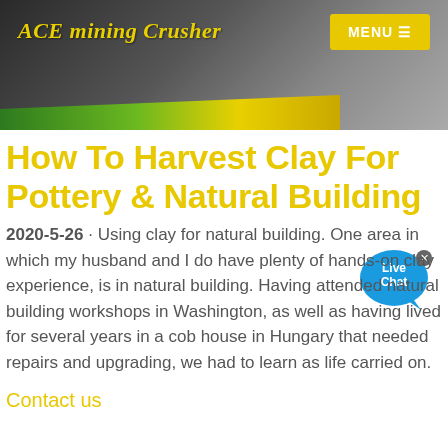ACE mining Crusher | MENU
[Figure (photo): Header banner with mining crusher machinery photo, green and yellow diagonal stripe at bottom, logo text 'ACE mining Crusher' in yellow italic on left, yellow 'MENU ≡' button on right]
How To Harvest Clay For Pottery & Natural Building
2020-5-26 · Using clay for natural building. One area in which my husband and I do have plenty of hands-on clay experience, is in natural building. Having attended natural building workshops in Washington, as well as having lived for several years in a cob house in Hungary that needed repairs and upgrading, we had to learn as life carried on.
Contact us